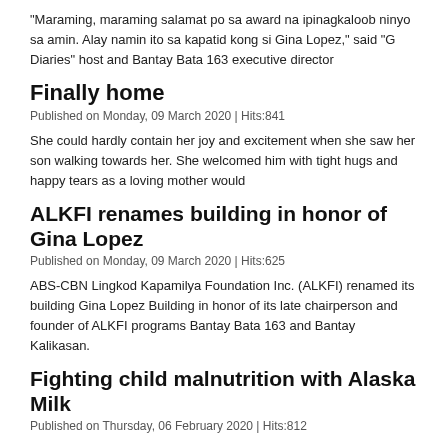“Maraming, maraming salamat po sa award na ipinagkaloob ninyo sa amin. Alay namin ito sa kapatid kong si Gina Lopez,” said “G Diaries” host and Bantay Bata 163 executive director
Finally home
Published on Monday, 09 March 2020 | Hits:841
She could hardly contain her joy and excitement when she saw her son walking towards her. She welcomed him with tight hugs and happy tears as a loving mother would
ALKFI renames building in honor of Gina Lopez
Published on Monday, 09 March 2020 | Hits:625
ABS-CBN Lingkod Kapamilya Foundation Inc. (ALKFI) renamed its building Gina Lopez Building in honor of its late chairperson and founder of ALKFI programs Bantay Bata 163 and Bantay Kalikasan.
Fighting child malnutrition with Alaska Milk
Published on Thursday, 06 February 2020 | Hits:812